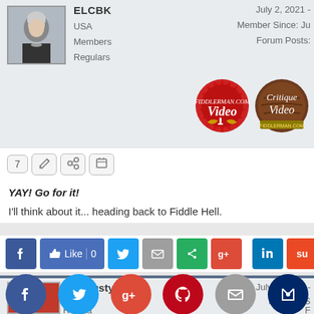[Figure (screenshot): Forum post header showing user ELCBK with avatar, location USA, roles Members and Regulars, post date July 2 2021, Member Since and Forum Posts info, with Fiddlerman Video and Critique Video badges]
ELCBK
USA
Members
Regulars
July 2, 2021 -
Member Since: Ju
Forum Posts:
YAY!  Go for it!
I'll think about it... heading back to Fiddle Hell.
ABitRusty
July 2, 2021 -
Member
Regulars